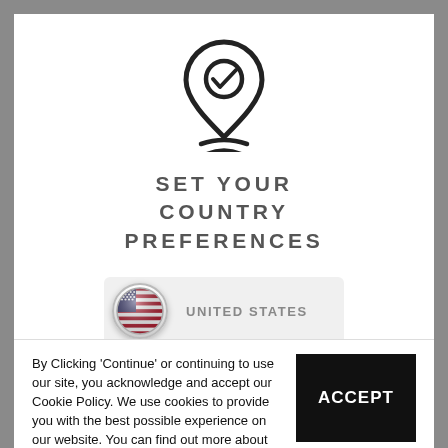[Figure (illustration): Location pin icon with a checkmark inside, and two curved lines beneath it forming a simplified map marker graphic, drawn in black outline style]
SET YOUR COUNTRY PREFERENCES
[Figure (illustration): Circular US flag icon with a glossy/3D appearance, shown next to a UNITED STATES label inside a light grey rounded rectangle]
By Clicking 'Continue' or continuing to use our site, you acknowledge and accept our Cookie Policy. We use cookies to provide you with the best possible experience on our website. You can find out more about the cookies and how to manage them by clicking HERE.